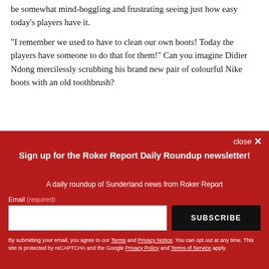be somewhat mind-boggling and frustrating seeing just how easy today's players have it.
"I remember we used to have to clean our own boots! Today the players have someone to do that for them!" Can you imagine Didier Ndong mercilessly scrubbing his brand new pair of colourful Nike boots with an old toothbrush?
close ×
Sign up for the Roker Report Daily Roundup newsletter!
A daily roundup of Sunderland news from Roker Report
Email (required)
SUBSCRIBE
By submitting your email, you agree to our Terms and Privacy Notice. You can opt out at any time. This site is protected by reCAPTCHA and the Google Privacy Policy and Terms of Service apply.